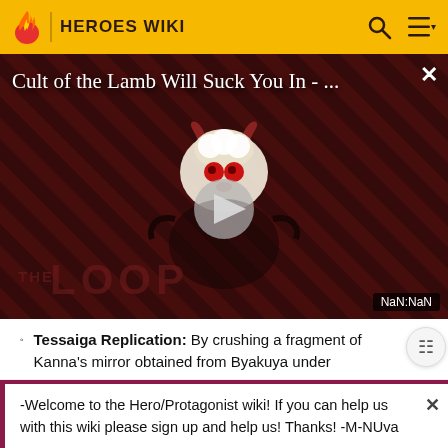HEROES WIKI
[Figure (screenshot): Video thumbnail for 'Cult of the Lamb Will Suck You In - ...' with a cartoon lamb character, diagonal striped dark red background, THE LOOP watermark, play button, and NaN:NaN time indicator]
Tessaiga Replication: By crushing a fragment of Kanna's mirror obtained from Byakuya under
-Welcome to the Hero/Protagonist wiki! If you can help us with this wiki please sign up and help us! Thanks! -M-NUva